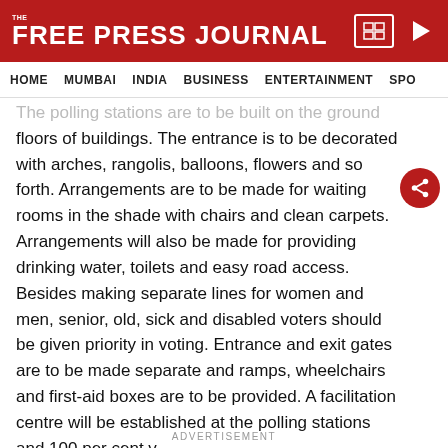THE FREE PRESS JOURNAL
HOME  MUMBAI  INDIA  BUSINESS  ENTERTAINMENT  SPO
The polling stations are to be built on the ground floors of buildings. The entrance is to be decorated with arches, rangolis, balloons, flowers and so forth. Arrangements are to be made for waiting rooms in the shade with chairs and clean carpets. Arrangements will also be made for providing drinking water, toilets and easy road access. Besides making separate lines for women and men, senior, old, sick and disabled voters should be given priority in voting. Entrance and exit gates are to be made separate and ramps, wheelchairs and first-aid boxes are to be provided. A facilitation centre will be established at the polling stations and 100 per cent v
ADVERTISEMENT